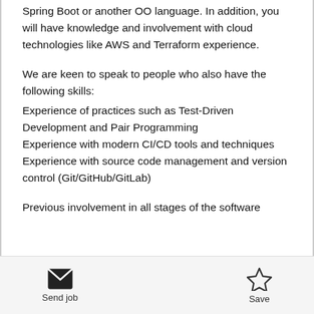Spring Boot or another OO language. In addition, you will have knowledge and involvement with cloud technologies like AWS and Terraform experience.
We are keen to speak to people who also have the following skills:
Experience of practices such as Test-Driven Development and Pair Programming
Experience with modern CI/CD tools and techniques
Experience with source code management and version control (Git/GitHub/GitLab)
Previous involvement in all stages of the software
Send job   Save